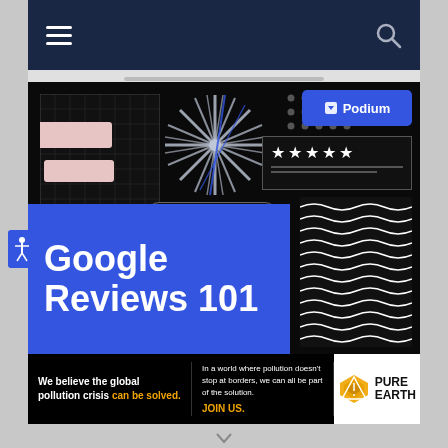[Figure (screenshot): Screenshot of a webpage showing a navy navigation bar with hamburger menu and search icon at top, followed by a dark promotional image featuring Google Reviews 101 in a blue box with decorative elements including a starburst, grid pattern, dots, stars rating box, Podium brand button, search bar, and wavy lines pattern. Below is an advertisement banner for Pure Earth organization.]
We believe the global pollution crisis can be solved.
In a world where pollution doesn't stop at borders, we can all be part of the solution. JOIN US.
PURE EARTH